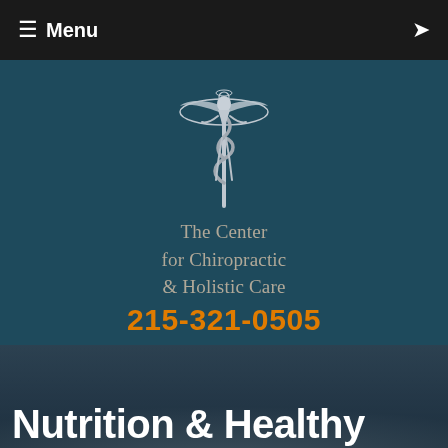≡ Menu
[Figure (logo): Caduceus / Rod of Asclepius medical symbol — silver winged figure with serpent staff]
The Center for Chiropractic & Holistic Care
215-321-0505
Nutrition & Healthy